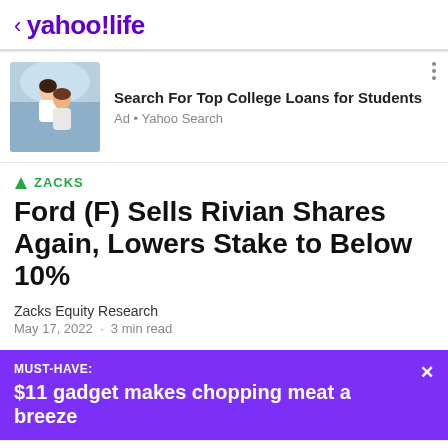< yahoo!life
[Figure (photo): Two young women laughing outdoors, piggyback ride in a field]
Search For Top College Loans for Students
Ad • Yahoo Search
▲ ZACKS
Ford (F) Sells Rivian Shares Again, Lowers Stake to Below 10%
Zacks Equity Research
May 17, 2022 · 3 min read
MUST-HAVE:
$11 gadget makes chopping meat a breeze
View comments